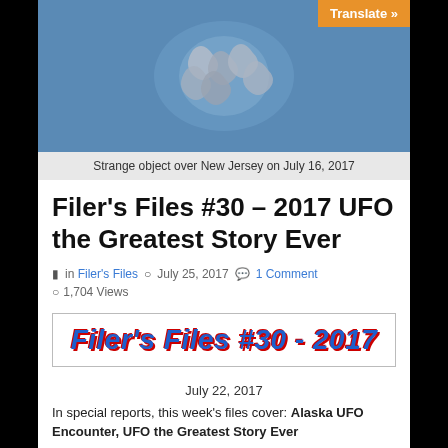[Figure (photo): Blurry photo of a strange metallic-looking object against a blue sky background]
Strange object over New Jersey on July 16, 2017
Filer's Files #30 – 2017 UFO the Greatest Story Ever
in Filer's Files  July 25, 2017  1 Comment  1,704 Views
[Figure (infographic): Banner graphic with italic bold blue text reading: Filer's Files #30 - 2017]
July 22, 2017
In special reports, this week's files cover: Alaska UFO Encounter, UFO the Greatest Story Ever